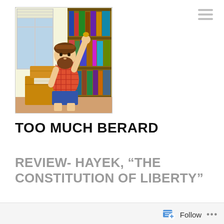[Figure (illustration): Cartoon illustration of a bearded man in a red plaid shirt and blue shorts, reaching up toward a bookshelf filled with colorful books, with cardboard boxes on the floor beside him near a window with blinds.]
TOO MUCH BERARD
REVIEW- HAYEK, “THE CONSTITUTION OF LIBERTY”
June 22, 2021  |  Peter Berard